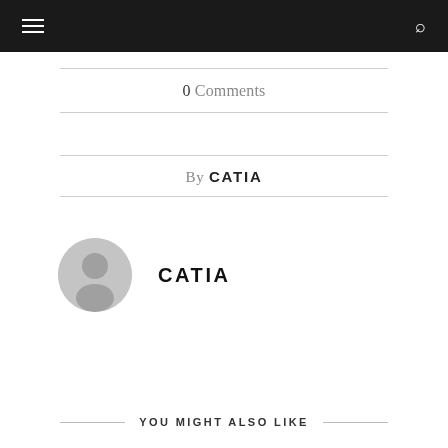0 Comments
By CATIA
CATIA
YOU MIGHT ALSO LIKE